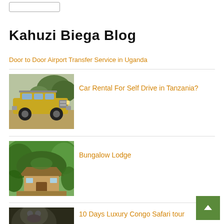[Figure (other): Button outline at top left]
Kahuzi Biega Blog
Door to Door Airport Transfer Service in Uganda
[Figure (photo): Yellow safari Land Cruiser 4x4 vehicle on a dirt road]
Car Rental For Self Drive in Tanzania?
[Figure (photo): Bungalow lodge surrounded by green trees and foliage]
Bungalow Lodge
[Figure (photo): Partial image of wildlife, gorilla possibly]
10 Days Luxury Congo Safari tour